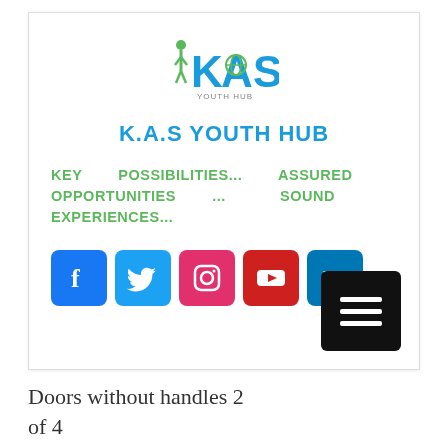[Figure (logo): KAS Youth Hub logo with stylized letters K, A, S and a globe, in blue and green colors]
K.A.S YOUTH HUB
KEY POSSIBILITIES... ASSURED OPPORTUNITIES ... SOUND EXPERIENCES...
[Figure (infographic): Row of social media icons: Facebook (blue), Twitter (light blue), Instagram (pink/red), YouTube (red), LinkedIn (blue)]
[Figure (other): Black hamburger menu button with three white horizontal lines]
Doors without handles 2 of 4